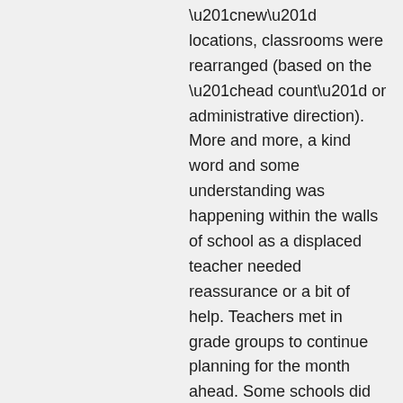“new” locations, classrooms were rearranged (based on the “head count” or administrative direction). More and more, a kind word and some understanding was happening within the walls of school as a displaced teacher needed reassurance or a bit of help. Teachers met in grade groups to continue planning for the month ahead. Some schools did choose different first week start up or whole school activities such as themes or “ice breakers,” or from necessity- reorganization. These plans are well thought out and take time to prepare.
Teachers work magic. When a child enters the room on that exciting first day; the classroom is “ready,” the teacher is excited